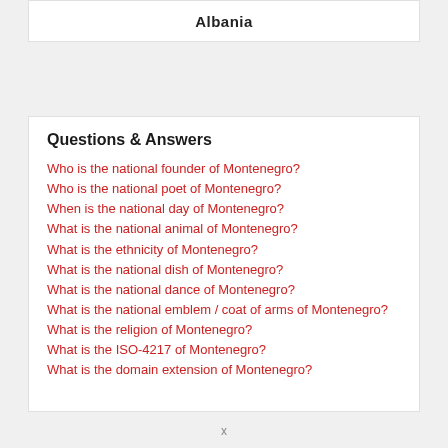Albania
Questions & Answers
Who is the national founder of Montenegro?
Who is the national poet of Montenegro?
When is the national day of Montenegro?
What is the national animal of Montenegro?
What is the ethnicity of Montenegro?
What is the national dish of Montenegro?
What is the national dance of Montenegro?
What is the national emblem / coat of arms of Montenegro?
What is the religion of Montenegro?
What is the ISO-4217 of Montenegro?
What is the domain extension of Montenegro?